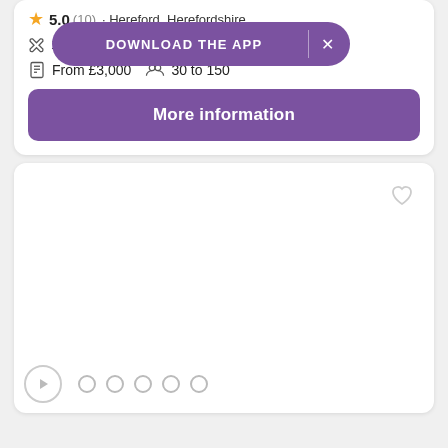5.0 (10) · Hereford, Herefordshire
1 deal
From £3,000   30 to 150
DOWNLOAD THE APP
More information
[Figure (screenshot): Empty image card with heart icon, play button and dot navigation indicators at the bottom]